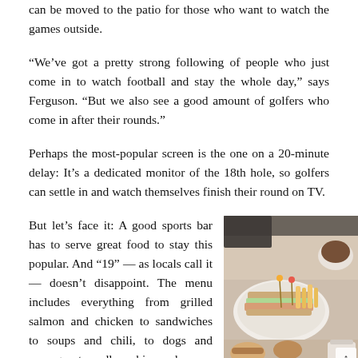can be moved to the patio for those who want to watch the games outside.
“We’ve got a pretty strong following of people who just come in to watch football and stay the whole day,” says Ferguson. “But we also see a good amount of golfers who come in after their rounds.”
Perhaps the most-popular screen is the one on a 20-minute delay: It’s a dedicated monitor of the 18th hole, so golfers can settle in and watch themselves finish their round on TV.
But let’s face it: A good sports bar has to serve great food to stay this popular. And “19” — as locals call it — doesn’t disappoint. The menu includes everything from grilled salmon and chicken to sandwiches to soups and chili, to dogs and sausages, to endless chips and
[Figure (photo): Photo of food on a table: sandwiches with toothpick garnishes, fries, a cup of coffee/soup, and other dishes on a light-colored surface.]